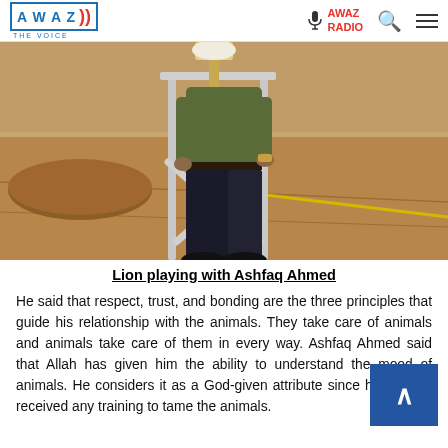AWAZ THE VOICE | AWAZ RADIO
[Figure (photo): A person in a dark green shirt and black jeans holding a metal pole/stand structure inside what appears to be an animal enclosure with a sandy/dirt floor. The photo shows the person from roughly chest-down, interacting with the metal frame structure.]
Lion playing with Ashfaq Ahmed
He said that respect, trust, and bonding are the three principles that guide his relationship with the animals. They take care of animals and animals take care of them in every way. Ashfaq Ahmed said that Allah has given him the ability to understand the mood of animals. He considers it as a God-given attribute since he has not received any training to tame the animals.